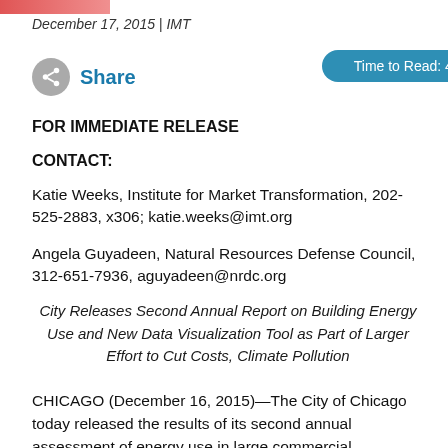December 17, 2015 | IMT
Share   Time to Read: 4 mins
FOR IMMEDIATE RELEASE
CONTACT:
Katie Weeks, Institute for Market Transformation, 202-525-2883, x306; katie.weeks@imt.org
Angela Guyadeen, Natural Resources Defense Council, 312-651-7936, aguyadeen@nrdc.org
City Releases Second Annual Report on Building Energy Use and New Data Visualization Tool as Part of Larger Effort to Cut Costs, Climate Pollution
CHICAGO (December 16, 2015)—The City of Chicago today released the results of its second annual assessment of energy use in large commercial, institutional, and residential buildings throughout the